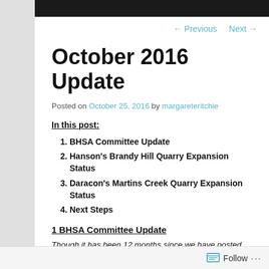← Previous   Next →
October 2016 Update
Posted on October 25, 2016 by margareteritchie
In this post:
1. BHSA Committee Update
2. Hanson's Brandy Hill Quarry Expansion Status
3. Daracon's Martins Creek Quarry Expansion Status
4. Next Steps
1 BHSA Committee Update
Though it has been 12 months since we have posted on